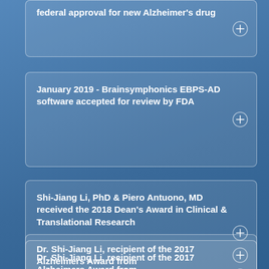federal approval for new Alzheimer's drug
January 2019 - Brainsymphonics EBPS-AD software accepted for review by FDA
Shi-Jiang Li, PhD & Piero Antuono, MD received the 2018 Dean's Award in Clinical & Translational Research
Dr. Shi-Jiang Li, recipient of the 2017 Alzheimers Award from